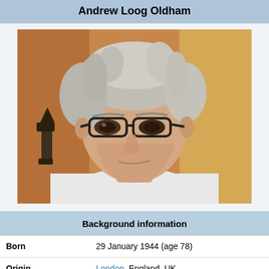Andrew Loog Oldham
[Figure (photo): Black and white/color photo of Andrew Loog Oldham, an elderly man with white/grey hair, wearing black-framed glasses and a white shirt, looking slightly downward to the left.]
Background information
| Field | Value |
| --- | --- |
| Born | 29 January 1944 (age 78) |
| Origin | London, England, UK |
| Occupation(s) | Record producer, manager, |